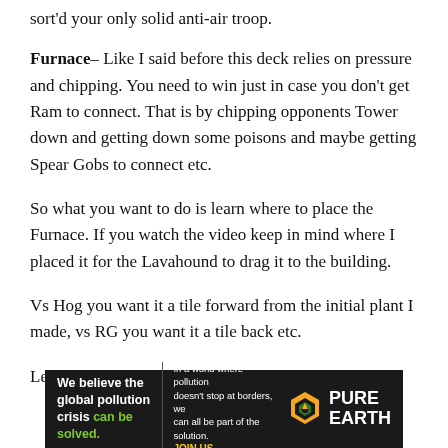sort'd your only solid anti-air troop.
Furnace– Like I said before this deck relies on pressure and chipping. You need to win just in case you don't get Ram to connect. That is by chipping opponents Tower down and getting down some poisons and maybe getting Spear Gobs to connect etc.
So what you want to do is learn where to place the Furnace. If you watch the video keep in mind where I placed it for the Lavahound to drag it to the building.
Vs Hog you want it a tile forward from the initial plant I made, vs RG you want it a tile back etc.
Learn the placements and try not to switch towers that
[Figure (infographic): Pure Earth advertisement banner: dark background, text 'We believe the global pollution crisis can be solved.' with 'can be solved.' in green, middle text 'In a world where pollution doesn't stop at borders, we can all be part of the solution. JOIN US.' in white with JOIN US in yellow, and Pure Earth logo on right with diamond/arrow icon.]